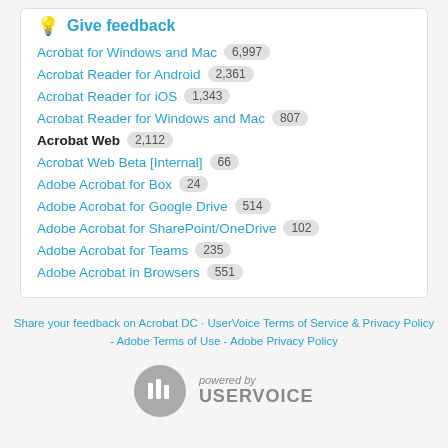Give feedback
Acrobat for Windows and Mac 6,997
Acrobat Reader for Android 2,361
Acrobat Reader for iOS 1,343
Acrobat Reader for Windows and Mac 807
Acrobat Web 2,112
Acrobat Web Beta [Internal] 66
Adobe Acrobat for Box 24
Adobe Acrobat for Google Drive 514
Adobe Acrobat for SharePoint/OneDrive 102
Adobe Acrobat for Teams 235
Adobe Acrobat in Browsers 551
Share your feedback on Acrobat DC · UserVoice Terms of Service & Privacy Policy - Adobe Terms of Use - Adobe Privacy Policy
[Figure (logo): UserVoice powered by logo with circular icon]